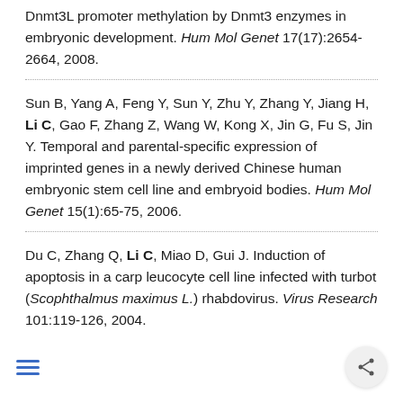Dnmt3L promoter methylation by Dnmt3 enzymes in embryonic development. Hum Mol Genet 17(17):2654-2664, 2008.
Sun B, Yang A, Feng Y, Sun Y, Zhu Y, Zhang Y, Jiang H, Li C, Gao F, Zhang Z, Wang W, Kong X, Jin G, Fu S, Jin Y. Temporal and parental-specific expression of imprinted genes in a newly derived Chinese human embryonic stem cell line and embryoid bodies. Hum Mol Genet 15(1):65-75, 2006.
Du C, Zhang Q, Li C, Miao D, Gui J. Induction of apoptosis in a carp leucocyte cell line infected with turbot (Scophthalmus maximus L.) rhabdovirus. Virus Research 101:119-126, 2004.